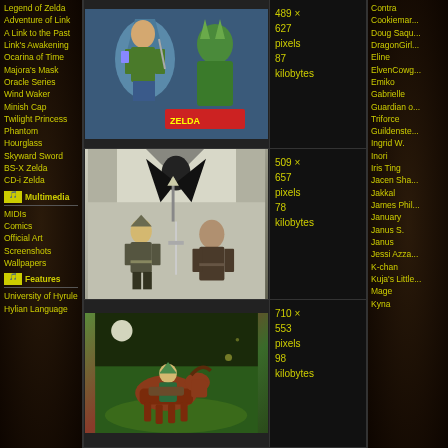Legend of Zelda
Adventure of Link
A Link to the Past
Link's Awakening
Ocarina of Time
Majora's Mask
Oracle Series
Wind Waker
Minish Cap
Twilight Princess
Phantom Hourglass
Skyward Sword
BS-X Zelda
CD-i Zelda
Multimedia
MIDIs
Comics
Official Art
Screenshots
Wallpapers
Features
University of Hyrule
Hylian Language
[Figure (illustration): Colored illustration from Legend of Zelda showing Link and Ganon characters]
489 × 627 pixels 87 kilobytes
[Figure (illustration): Black and white manga-style illustration showing Link and another character with a sword]
509 × 657 pixels 78 kilobytes
[Figure (illustration): Colored illustration of Link on a horse at night]
710 × 553 pixels 98 kilobytes
Contra
Cookieman
Doug Saqu...
DragonGirl
Eline
ElvenCowg...
Emiko
Gabrielle
Guardian o...
Triforce
Guildnste...
Ingrid W.
Inori
Iris Ting
Jacen Sha...
Jakkal
James Phil...
January
Janus S.
Janus
Jessi Azza...
K-chan
Kuja's Little...
Mage
Kyna